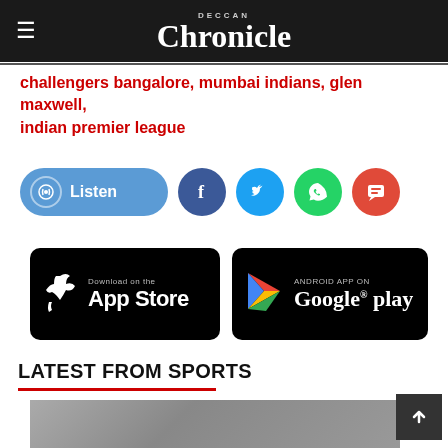Deccan Chronicle
challengers bangalore, mumbai indians, glen maxwell, indian premier league
[Figure (other): Social sharing bar with Listen button (blue pill), Facebook (blue circle), Twitter (light blue circle), WhatsApp (green circle), Comment (red circle) icons]
[Figure (other): App Store download badge (black, Apple logo, Download on the App Store)]
[Figure (other): Google Play download badge (black, Play Store logo, Android App on Google play)]
LATEST FROM SPORTS
[Figure (photo): Bottom cropped photo, partial sports-related image]